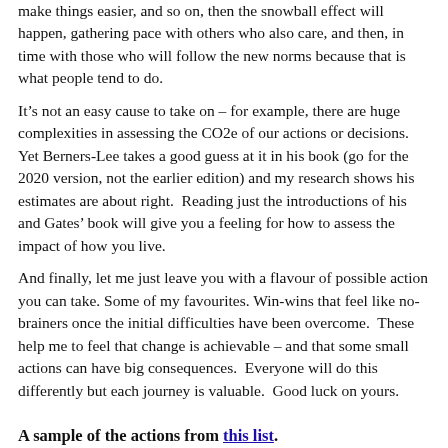make things easier, and so on, then the snowball effect will happen, gathering pace with others who also care, and then, in time with those who will follow the new norms because that is what people tend to do.
It’s not an easy cause to take on – for example, there are huge complexities in assessing the CO2e of our actions or decisions. Yet Berners-Lee takes a good guess at it in his book (go for the 2020 version, not the earlier edition) and my research shows his estimates are about right. Reading just the introductions of his and Gates’ book will give you a feeling for how to assess the impact of how you live.
And finally, let me just leave you with a flavour of possible action you can take. Some of my favourites. Win-wins that feel like no-brainers once the initial difficulties have been overcome. These help me to feel that change is achievable – and that some small actions can have big consequences. Everyone will do this differently but each journey is valuable. Good luck on yours.
A sample of the actions from this list.
Buy second hand – or repair. If we want to avoid climate disaster, buying new has to be a rare luxury. Creating new